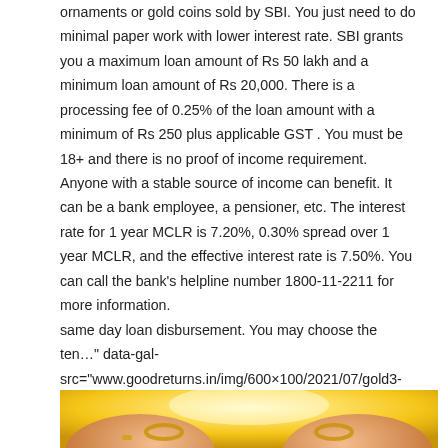ornaments or gold coins sold by SBI. You just need to do minimal paper work with lower interest rate. SBI grants you a maximum loan amount of Rs 50 lakh and a minimum loan amount of Rs 20,000. There is a processing fee of 0.25% of the loan amount with a minimum of Rs 250 plus applicable GST . You must be 18+ and there is no proof of income requirement. Anyone with a stable source of income can benefit. It can be a bank employee, a pensioner, etc. The interest rate for 1 year MCLR is 7.20%, 0.30% spread over 1 year MCLR, and the effective interest rate is 7.50%. You can call the bank's helpline number 1800-11-2211 for more information.
same day loan disbursement. You may choose the ten…" data-gal-src="www.goodreturns.in/img/600×100/2021/07/gold3-1627467021.jpg">
[Figure (photo): Photo of two hands holding gold jewelry/bangles against a bright golden/yellow background]